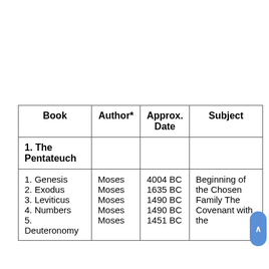| Book | Author* | Approx. Date | Subject |
| --- | --- | --- | --- |
| 1. The Pentateuch |  |  |  |
| 1. Genesis
2. Exodus
3. Leviticus
4. Numbers
5. Deuteronomy | Moses
Moses
Moses
Moses
Moses | 4004 BC
1635 BC
1490 BC
1490 BC
1451 BC | Beginning of the Chosen Family The Covenant with the |